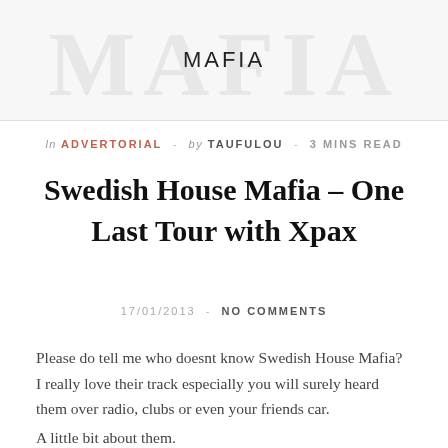MAFIA
In ADVERTORIAL - by TAUFULOU - 3 MINS READ
Swedish House Mafia – One Last Tour with Xpax
17/01/2013 - NO COMMENTS
Please do tell me who doesnt know Swedish House Mafia? I really love their track especially you will surely heard them over radio, clubs or even your friends car.
A little bit about them.